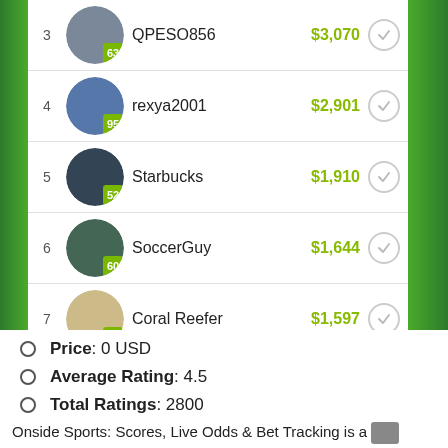[Figure (screenshot): Mobile app leaderboard screenshot showing ranked users with usernames, scores, and prize amounts in green. Ranks 3-8 visible: QPESO856 $3,070, rexya2001 $2,901, Starbucks $1,910, SoccerGuy $1,644, Coral Reefer $1,597, Bottom Feeder $1,309.]
Price: 0 USD
Average Rating: 4.5
Total Ratings: 2800
Onside Sports: Scores, Live Odds & Bet Tracking is an